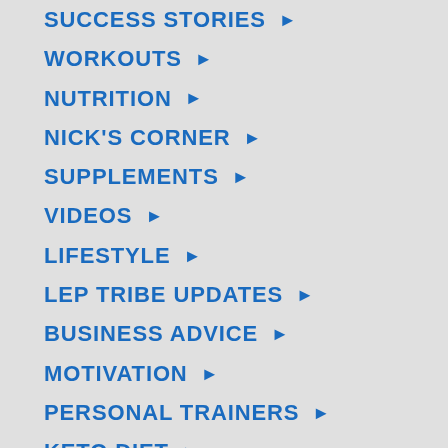SUCCESS STORIES ▶
WORKOUTS ▶
NUTRITION ▶
NICK'S CORNER ▶
SUPPLEMENTS ▶
VIDEOS ▶
LIFESTYLE ▶
LEP TRIBE UPDATES ▶
BUSINESS ADVICE ▶
MOTIVATION ▶
PERSONAL TRAINERS ▶
KETO DIET ▶